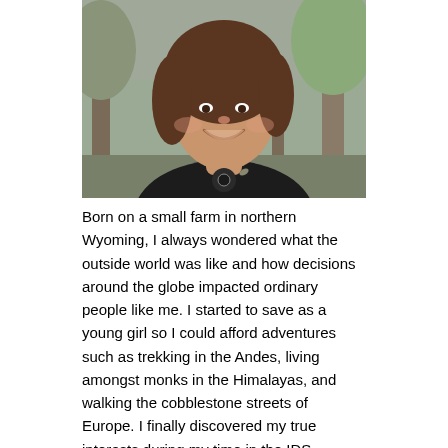[Figure (photo): Portrait photo of a young woman with dark brown hair, smiling, wearing a dark jacket, photographed outdoors against a blurred natural background.]
Born on a small farm in northern Wyoming, I always wondered what the outside world was like and how decisions around the globe impacted ordinary people like me. I started to save as a young girl so I could afford adventures such as trekking in the Andes, living amongst monks in the Himalayas, and walking the cobblestone streets of Europe. I finally discovered my true interests during my time in the IDS program at the University of Montana when I took a life changing field course to Hong Kong. Upon visiting the city I